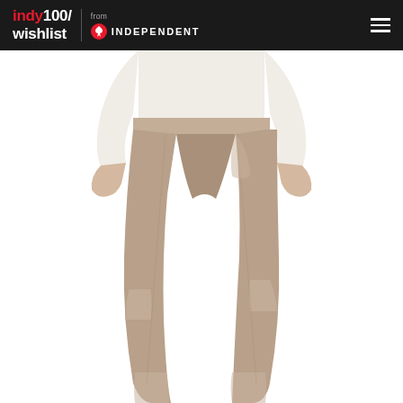indy100/ wishlist from INDEPENDENT
[Figure (photo): Product photo of a woman wearing taupe/beige athletic leggings with mesh panel details at the knees and ankles, paired with a cream long-sleeve top. Only the torso and legs are visible. White background.]